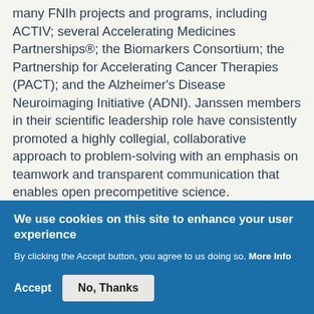many FNIh projects and programs, including ACTIV; several Accelerating Medicines Partnerships®; the Biomarkers Consortium; the Partnership for Accelerating Cancer Therapies (PACT); and the Alzheimer's Disease Neuroimaging Initiative (ADNI). Janssen members in their scientific leadership role have consistently promoted a highly collegial, collaborative approach to problem-solving with an emphasis on teamwork and transparent communication that enables open precompetitive science.
Mr. Alex Gorsky, Chairman, Board of Directors,
We use cookies on this site to enhance your user experience
By clicking the Accept button, you agree to us doing so. More Info
Accept  No, Thanks